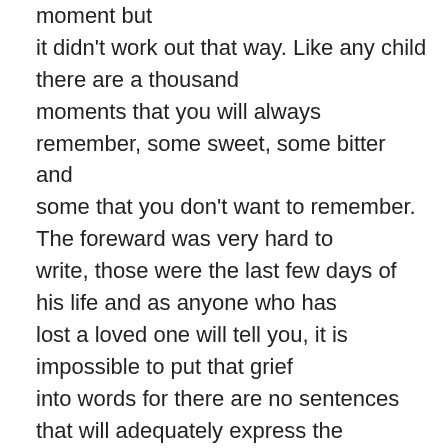moment but it didn't work out that way. Like any child there are a thousand moments that you will always remember, some sweet, some bitter and some that you don't want to remember. The foreward was very hard to write, those were the last few days of his life and as anyone who has lost a loved one will tell you, it is impossible to put that grief into words for there are no sentences that will adequately express the pain you go through.

There are a multitude of moments that made me smile or made me laugh